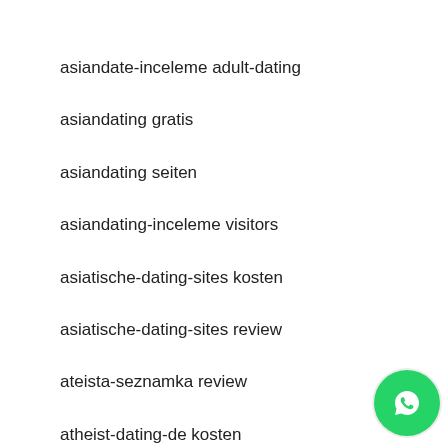asiandate-inceleme adult-dating
asiandating gratis
asiandating seiten
asiandating-inceleme visitors
asiatische-dating-sites kosten
asiatische-dating-sites review
ateista-seznamka review
atheist-dating-de kosten
atheist-dating-de visitors
Athens+GA+Georgia hookup sites